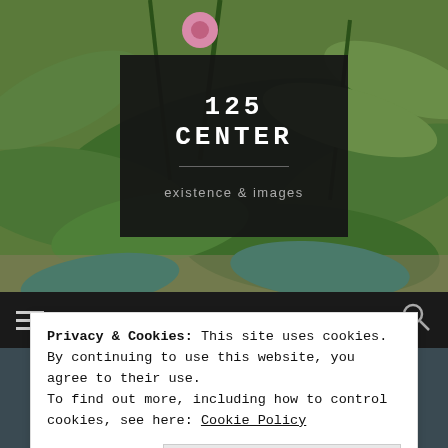[Figure (photo): Background photo of green leaves and plants with a pink flower, forming the header background of a website.]
125 CENTER
existence & images
Privacy & Cookies: This site uses cookies. By continuing to use this website, you agree to their use.
To find out more, including how to control cookies, see here: Cookie Policy
Close and accept